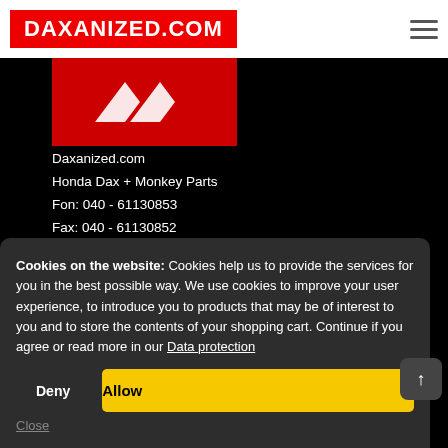DAXANIZED.COM
[Figure (logo): Daxanized.com red logo with white arrow/chevron icon]
Daxanized.com
Honda Dax + Monkey Parts
Fon: 040 - 61130853
Fax: 040 - 61130852
Mail: info (@) daxanized.com
Mo to Fr from 10 am -7 pm
Cookies on the website: Cookies help us to provide the services for you in the best possible way. We use cookies to improve your user experience, to introduce you to products that may be of interest to you and to store the contents of your shopping cart. Continue if you agree or read more in our Data protection
Deny
Allow
Close